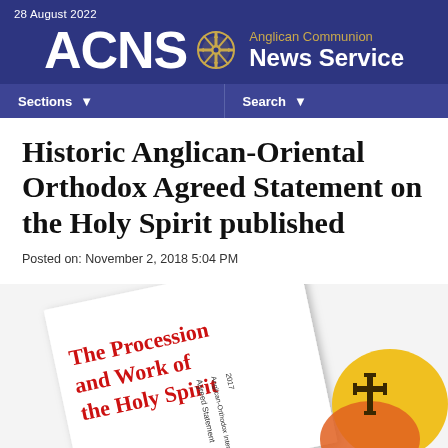28 August 2022 — ACNS Anglican Communion News Service
Historic Anglican-Oriental Orthodox Agreed Statement on the Holy Spirit published
Posted on: November 2, 2018 5:04 PM
[Figure (photo): A photograph of a book titled 'The Procession and Work of the Holy Spirit — Agreed Statement — Anglican-Orthodox International Commission 2017', with red text on white cover and colorful logo visible on the right side.]